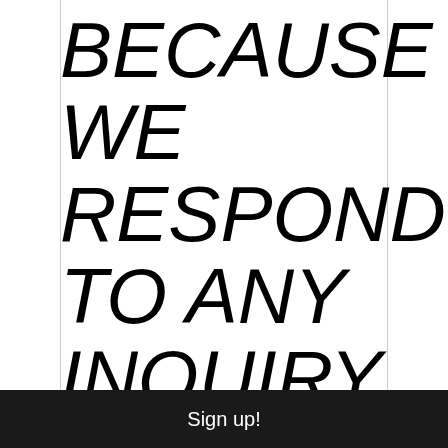BECAUSE WE RESPOND TO ANY INQUIRY OR
Sign up!